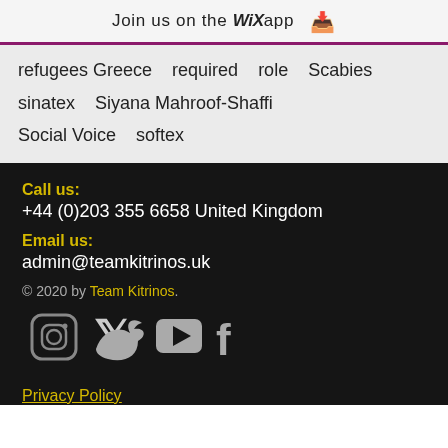Join us on the WiX app ⬇
refugees Greece   required   role   Scabies
sinatex   Siyana Mahroof-Shaffi
Social Voice   softex
Call us:
+44 (0)203 355 6658 United Kingdom
Email us:
admin@teamkitrinos.uk
© 2020 by Team Kitrinos.
[Figure (infographic): Social media icons: Instagram, Twitter, YouTube, Facebook]
Privacy Policy